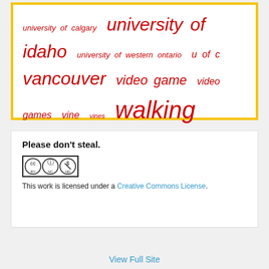[Figure (infographic): Tag cloud with red italic words of varying sizes including: university of calgary, university of idaho, university of western ontario, u of c, vancouver, video game, video games, vine, vines, walking, weather, web comic, wikipedia, Wordpress, wtf, youtube]
Please don't steal.
[Figure (logo): Creative Commons BY NC ND license badge]
This work is licensed under a Creative Commons License.
View Full Site